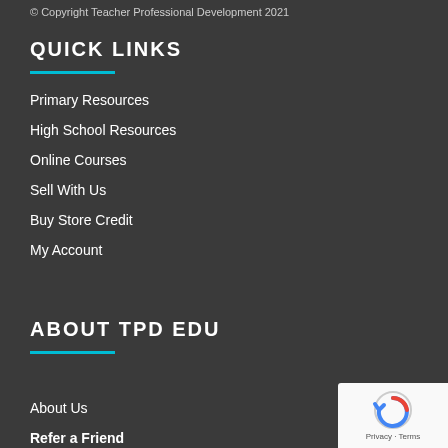© Copyright Teacher Professional Development 2021
QUICK LINKS
Primary Resources
High School Resources
Online Courses
Sell With Us
Buy Store Credit
My Account
ABOUT TPD EDU
About Us
Refer a Friend